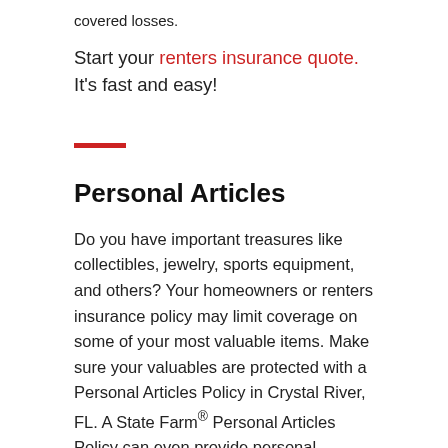covered losses.
Start your renters insurance quote. It's fast and easy!
Personal Articles
Do you have important treasures like collectibles, jewelry, sports equipment, and others? Your homeowners or renters insurance policy may limit coverage on some of your most valuable items. Make sure your valuables are protected with a Personal Articles Policy in Crystal River, FL. A State Farm® Personal Articles Policy can even provide personal property coverage1 worldwide (perfect for vacations) in case of theft, accidental damage, or loss.
Want more information? Ask Ryan Lampasona in